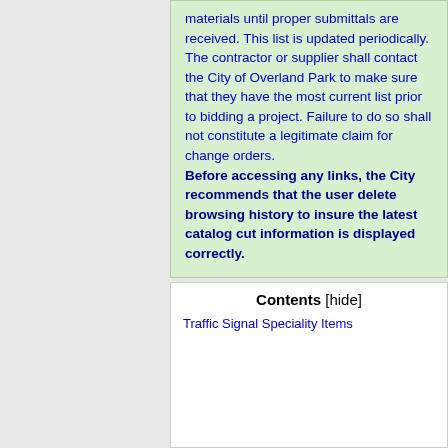materials until proper submittals are received. This list is updated periodically. The contractor or supplier shall contact the City of Overland Park to make sure that they have the most current list prior to bidding a project. Failure to do so shall not constitute a legitimate claim for change orders.
Before accessing any links, the City recommends that the user delete browsing history to insure the latest catalog cut information is displayed correctly.
Contents [hide]
Traffic Signal Speciality Items